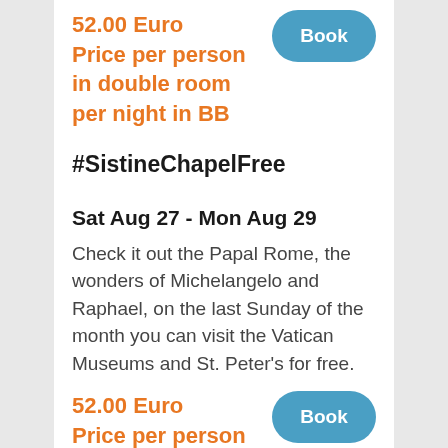52.00 Euro Price per person in double room per night in BB
Book
#SistineChapelFree
Sat Aug 27 - Mon Aug 29
Check it out the Papal Rome, the wonders of Michelangelo and Raphael, on the last Sunday of the month you can visit the Vatican Museums and St. Peter's for free.
52.00 Euro
Book
Price per person